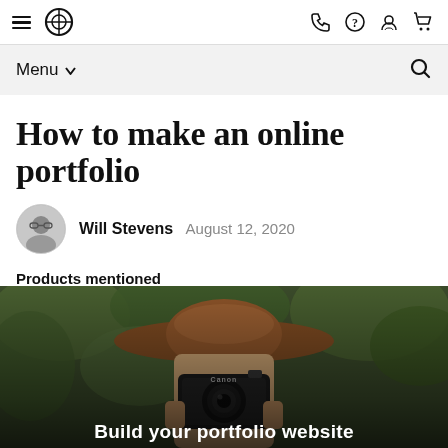Navigation bar with hamburger menu, logo, phone, help, account, and cart icons
Menu ∨  [Search icon]
How to make an online portfolio
Will Stevens  August 12, 2020
Products mentioned
Websites + Marketing
[Figure (photo): Person holding a Canon camera up to their face, wearing a wide-brimmed hat, with green foliage in the background. Overlay text at bottom reads 'Build your portfolio website']